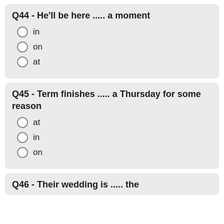Q44 - He'll be here ..... a moment
in
on
at
Q45 - Term finishes ..... a Thursday for some reason
at
in
on
Q46 - Their wedding is ..... the